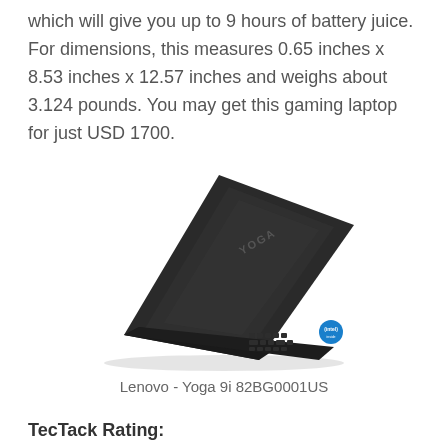which will give you up to 9 hours of battery juice. For dimensions, this measures 0.65 inches x 8.53 inches x 12.57 inches and weighs about 3.124 pounds. You may get this gaming laptop for just USD 1700.
[Figure (photo): Photo of a Lenovo Yoga 9i 82BG0001US laptop opened at an angle showing the back lid with YOGA branding and the keyboard, with an Intel inside logo in the bottom right corner.]
Lenovo - Yoga 9i 82BG0001US
TecTack Rating: